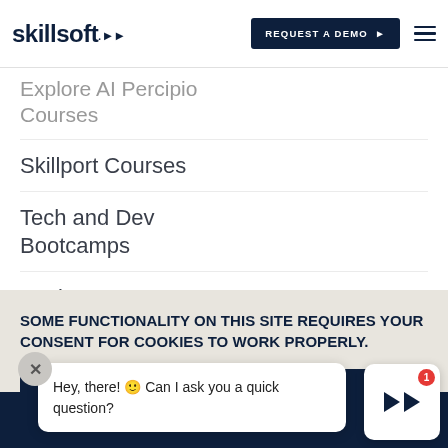skillsoft | REQUEST A DEMO
Explore AI Percipio Courses
Skillport Courses
Tech and Dev Bootcamps
Aspire Journeys
Compliance Courses
SOME FUNCTIONALITY ON THIS SITE REQUIRES YOUR CONSENT FOR COOKIES TO WORK PROPERLY.
I CONSENT TO COOKIES
Hey, there! 🙂 Can I ask you a quick question?